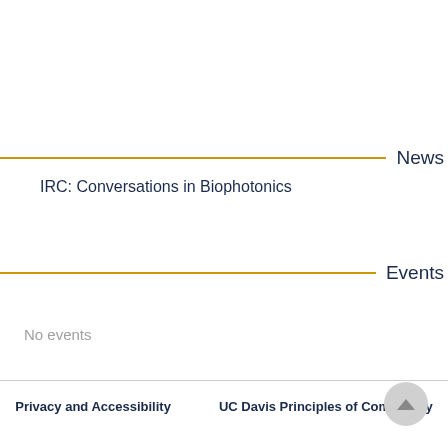News
IRC: Conversations in Biophotonics
Events
No events
Privacy and Accessibility   UC Davis Principles of Community